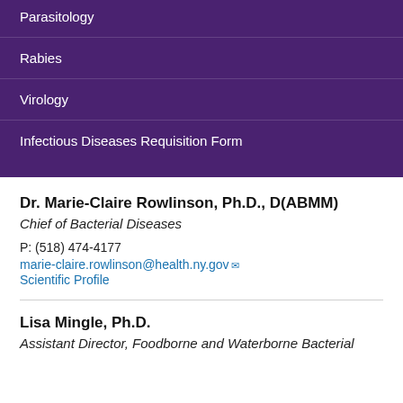Parasitology
Rabies
Virology
Infectious Diseases Requisition Form
Dr. Marie-Claire Rowlinson, Ph.D., D(ABMM)
Chief of Bacterial Diseases
P: (518) 474-4177
marie-claire.rowlinson@health.ny.gov
Scientific Profile
Lisa Mingle, Ph.D.
Assistant Director, Foodborne and Waterborne Bacterial Diseases